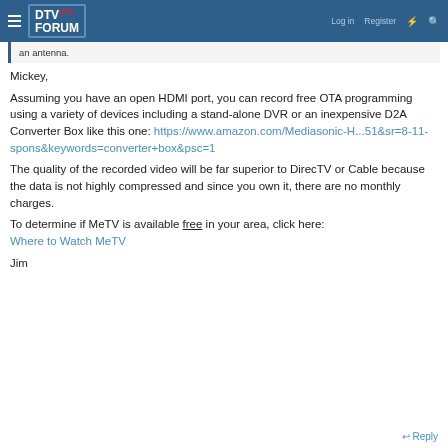DTV USA FORUM | Log in | Register
an antenna.
Mickey,
Assuming you have an open HDMI port, you can record free OTA programming using a variety of devices including a stand-alone DVR or an inexpensive D2A Converter Box like this one: https://www.amazon.com/Mediasonic-H...51&sr=8-11-spons&keywords=converter+box&psc=1
The quality of the recorded video will be far superior to DirecTV or Cable because the data is not highly compressed and since you own it, there are no monthly charges.
To determine if MeTV is available free in your area, click here: Where to Watch MeTV
Jim